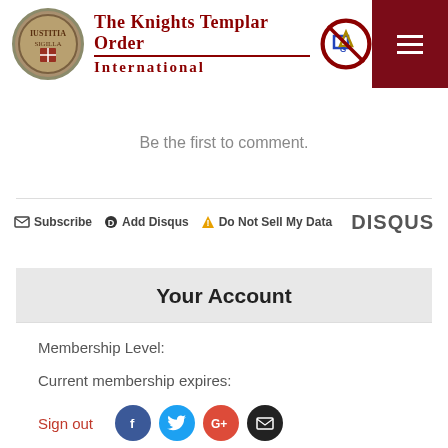The Knights Templar Order International
Be the first to comment.
Subscribe  Add Disqus  Do Not Sell My Data  DISQUS
Your Account
Membership Level:
Current membership expires:
Sign out